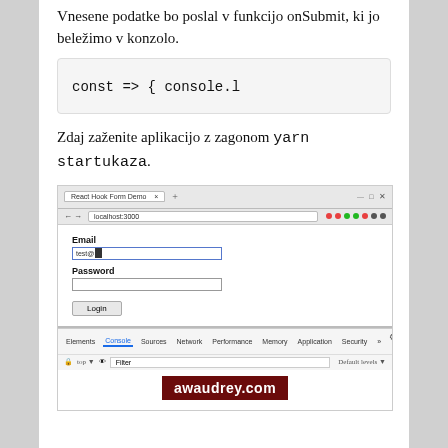Vnesene podatke bo poslal v funkcijo onSubmit, ki jo beležimo v konzolo.
[Figure (screenshot): Code block showing: const onSubmit = (data) => { console.l]
Zdaj zaženite aplikacijo z zagonom yarn startukaza.
[Figure (screenshot): Browser screenshot showing a form with Email and Password fields and a Login button, plus Chrome DevTools console open at the bottom with awaudrey.com watermark]